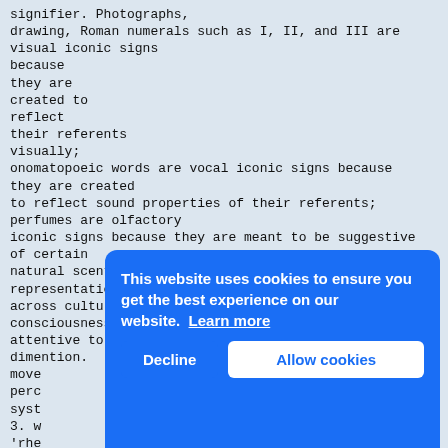signifier. Photographs, drawing, Roman numerals such as I, II, and III are visual iconic signs because they are created to reflect their referents visually; onomatopoeic words are vocal iconic signs because they are created to reflect sound properties of their referents; perfumes are olfactory iconic signs because they are meant to be suggestive of certain natural scents.[..] The presence of iconicity in representational systems across cultures is strong evidence that human consciousness is attentive to the recurrent patterns of colour, shape, dimention. move perc syst 3. w 'rhe that to f to p must 18 attention, it is here that rhetorical figures (for the various figure of
[Figure (screenshot): Cookie consent overlay banner with blue background. Text reads: 'This website uses cookies to ensure you get the best experience on our website. Learn more' with a 'Decline' button and an 'Allow cookies' button.]